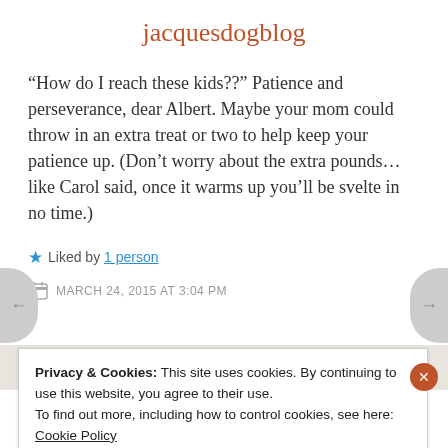jacquesdogblog
“How do I reach these kids??” Patience and perseverance, dear Albert. Maybe your mom could throw in an extra treat or two to help keep your patience up. (Don’t worry about the extra pounds… like Carol said, once it warms up you’ll be svelte in no time.)
★ Liked by 1 person
MARCH 24, 2015 AT 3:04 PM
Privacy & Cookies: This site uses cookies. By continuing to use this website, you agree to their use.
To find out more, including how to control cookies, see here: Cookie Policy
Close and accept